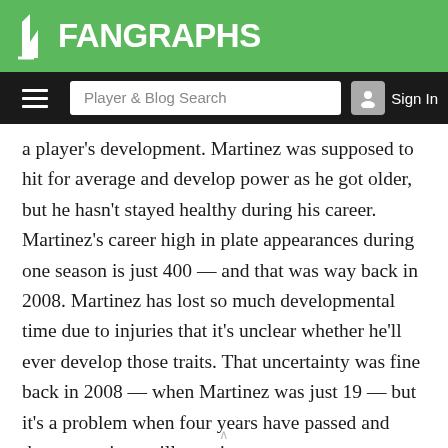FanGraphs
a player’s development. Martinez was supposed to hit for average and develop power as he got older, but he hasn’t stayed healthy during his career. Martinez’s career high in plate appearances during one season is just 400 — and that was way back in 2008. Martinez has lost so much developmental time due to injuries that it’s unclear whether he’ll ever develop those traits. That uncertainty was fine back in 2008 — when Martinez was just 19 — but it’s a problem when four years have passed and those questions still remain.